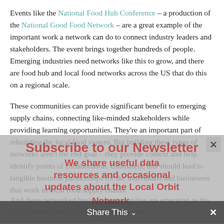Events like the National Food Hub Conference – a production of the National Good Food Network – are a great example of the important work a network can do to connect industry leaders and stakeholders. The event brings together hundreds of people. Emerging industries need networks like this to grow, and there are food hub and local food networks across the US that do this on a regional scale.
These communities can provide significant benefit to emerging supply chains, connecting like-minded stakeholders while providing learning opportunities. They're an important part of rebuilding the local food system. But building these types of networks aren't the end goal – they provide context and help identify points of collaboration. Ultimately, this should lead to tangible business partnerships for the individuals and businesses that work in local food supply chains.
[Figure (other): Subscribe to our Newsletter overlay with text: 'We share useful data resources and occasional updates about the Local Orbit Network.' and a First Name input field placeholder.]
And these networked business opportunities are emerging as the local food economy is creating trading and
[Figure (other): Share This bar at the bottom with a close (x) button on the right.]